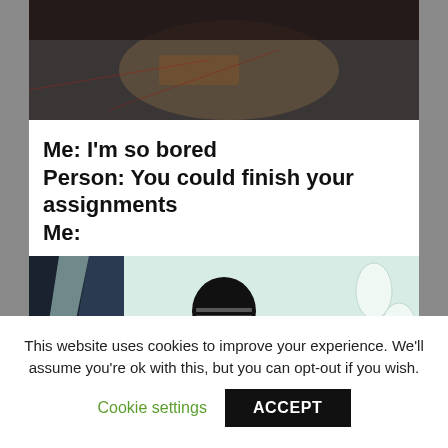[Figure (photo): Top portion of a meme — dark blurry scene, possibly a Star Wars close-up with dark helmet/mask in low light]
Me: I'm so bored
Person: You could finish your assignments
Me:
[Figure (photo): Kylo Ren (Star Wars villain) in dark outfit standing in a white high-tech corridor with diagonal light strips, wearing a helmet with horizontal visor lines]
This website uses cookies to improve your experience. We'll assume you're ok with this, but you can opt-out if you wish.
Cookie settings
ACCEPT